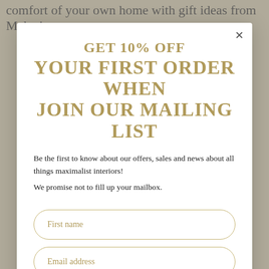comfort of your own home with gift ideas from Make it
GET 10% OFF
YOUR FIRST ORDER WHEN
JOIN OUR MAILING LIST
Be the first to know about our offers, sales and news about all things maximalist interiors!
We promise not to fill up your mailbox.
First name
Email address
SUBSCRIBE